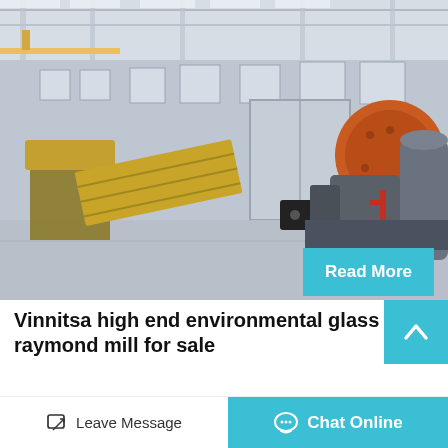[Figure (photo): Industrial warehouse interior with heavy mining/milling machinery including a large orange and grey ball mill, yellow vibrating screens, and other industrial equipment on a concrete floor.]
Read More
Vinnitsa high end environmental glass raymond mill for sale
high end environmental glass chute feeder in Vinnitsa. ... Vinnitsa
Leave Message
Chat Online